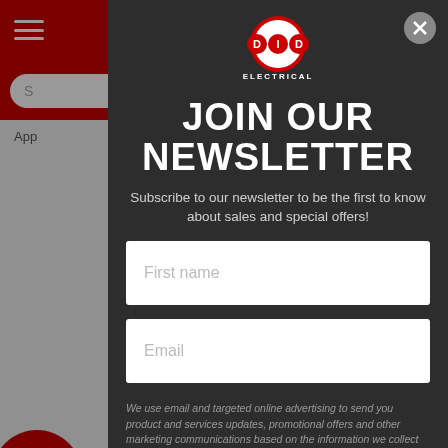[Figure (screenshot): DID Electrical website screenshot in background showing red header with hamburger menu, search bar, and breadcrumb navigation]
[Figure (logo): DID Electrical logo - circular logo with D I D letters in red and white circles, ELECTRICAL text below]
JOIN OUR NEWSLETTER
Subscribe to our newsletter to be the first to know about sales and special offers!
First name
Email
We use email and targeted online advertising to send you product and services updates, promotional offers and other marketing communications based on the information we collect about you, such as your email address, general location, and purchase and website browsing history. You may withdraw your consent or manage your preferences at any time by clicking the unsubscribe link at the bottom of any of our marketing emails.